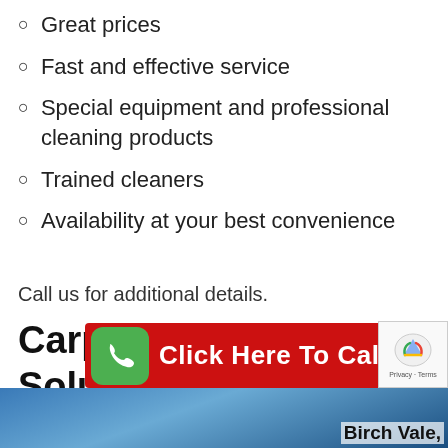Great prices
Fast and effective service
Special equipment and professional cleaning products
Trained cleaners
Availability at your best convenience
Call us for additional details.
Carpet Cleaning Solutions Birch Vale, SK22
[Figure (infographic): Red CTA bar with green phone icon and white text 'Click Here To Call Us']
[Figure (photo): Partial photo of carpet cleaning with text 'Birch Vale,' visible in bottom right]